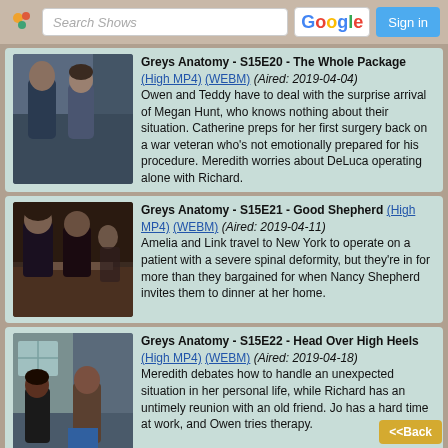Search Shows | Sign in
[Figure (screenshot): TV episode listing screenshot for Grey's Anatomy S15E20 with thumbnail]
Greys Anatomy - S15E20 - The Whole Package (High MP4) (WEBM) (Aired: 2019-04-04) Owen and Teddy have to deal with the surprise arrival of Megan Hunt, who knows nothing about their situation. Catherine preps for her first surgery back on a war veteran who’s not emotionally prepared for his procedure. Meredith worries about DeLuca operating alone with Richard.
[Figure (screenshot): TV episode listing screenshot for Grey's Anatomy S15E21 with thumbnail]
Greys Anatomy - S15E21 - Good Shepherd (High MP4) (WEBM) (Aired: 2019-04-11) Amelia and Link travel to New York to operate on a patient with a severe spinal deformity, but they’re in for more than they bargained for when Nancy Shepherd invites them to dinner at her home.
[Figure (screenshot): TV episode listing screenshot for Grey's Anatomy S15E22 with thumbnail]
Greys Anatomy - S15E22 - Head Over High Heels (High MP4) (WEBM) (Aired: 2019-04-18) Meredith debates how to handle an unexpected situation in her personal life, while Richard has an untimely reunion with an old friend. Jo has a hard time at work, and Owen tries therapy.